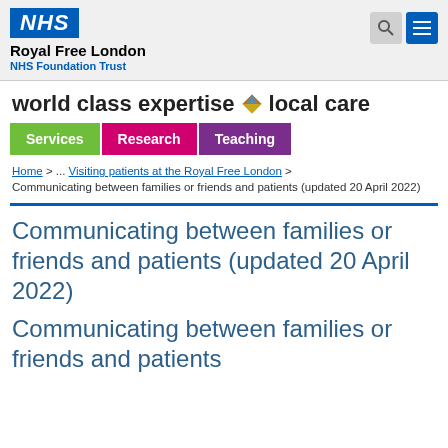NHS Royal Free London NHS Foundation Trust
world class expertise ♦ local care
Services  Research  Teaching
Home > ... Visiting patients at the Royal Free London > Communicating between families or friends and patients (updated 20 April 2022)
Communicating between families or friends and patients (updated 20 April 2022)
Communicating between families or friends and patients